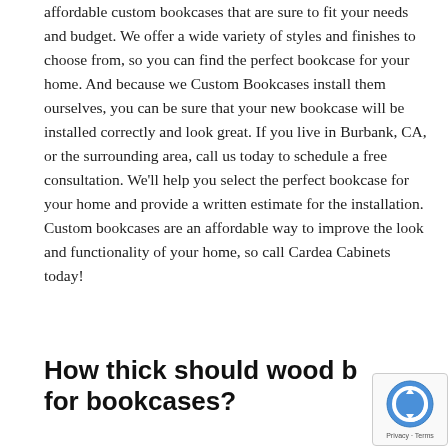affordable custom bookcases that are sure to fit your needs and budget. We offer a wide variety of styles and finishes to choose from, so you can find the perfect bookcase for your home. And because we Custom Bookcases install them ourselves, you can be sure that your new bookcase will be installed correctly and look great. If you live in Burbank, CA, or the surrounding area, call us today to schedule a free consultation. We'll help you select the perfect bookcase for your home and provide a written estimate for the installation. Custom bookcases are an affordable way to improve the look and functionality of your home, so call Cardea Cabinets today!
How thick should wood b for bookcases?